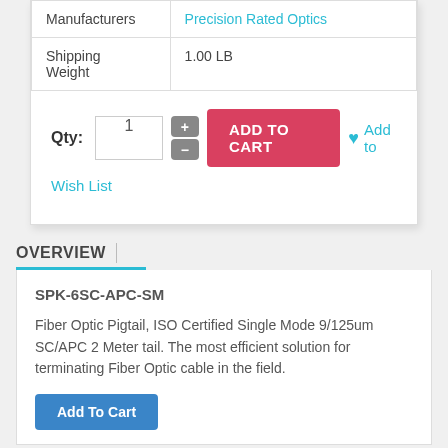|  |  |
| --- | --- |
| Manufacturers | Precision Rated Optics |
| Shipping Weight | 1.00 LB |
Qty: 1  ADD TO CART  ♥ Add to Wish List
OVERVIEW
SPK-6SC-APC-SM
Fiber Optic Pigtail, ISO Certified Single Mode 9/125um SC/APC 2 Meter tail. The most efficient solution for terminating Fiber Optic cable in the field.
Add To Cart